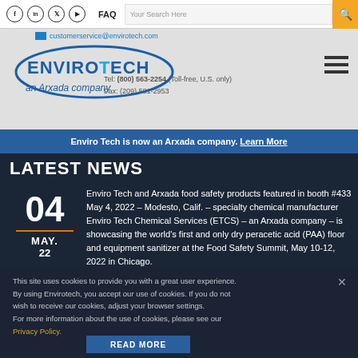Social icons (Facebook, LinkedIn, Twitter, YouTube) | FAQ | Your Search Here | search button
[Figure (logo): EnviroTech an Arxada company logo]
customerservice@envirotech.com
Tel: (800) 563-2254 (Toll-free, U.S. only)
Fax: (209) 581-2953
Enviro Tech is now an Arxada company. Learn More
LATEST NEWS
04
MAY.
22
Enviro Tech and Arxada food safety products featured in booth #433 May 4, 2022 – Modesto, Calif. – specialty chemical manufacturer Enviro Tech Chemical Services (ETCS) – an Arxada company – is showcasing the world's first and only dry peracetic acid (PAA) floor and equipment sanitizer at the Food Safety Summit, May 10-12, 2022 in Chicago.
This site uses cookies to provide you with a great user experience. By using Envirotech, you accept our use of cookies. If you do not wish to receive our cookies, adjust your browser settings. For more information about the use of cookies, please see our Privacy Policy.
READ MORE